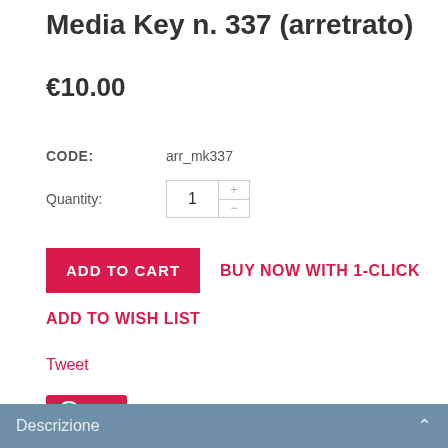Media Key n. 337 (arretrato)
€10.00
CODE: arr_mk337
Quantity: 1
ADD TO CART
BUY NOW WITH 1-CLICK
ADD TO WISH LIST
Tweet
Save
Descrizione